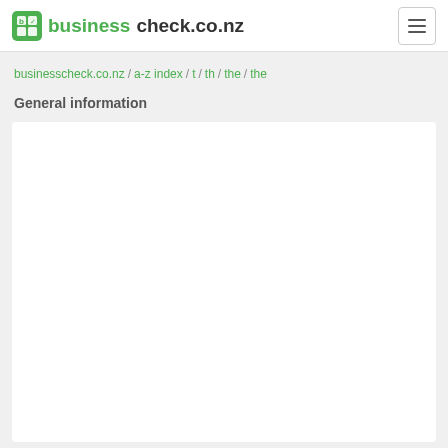businesscheck.co.nz
businesscheck.co.nz / a-z index / t / th / the / the
General information